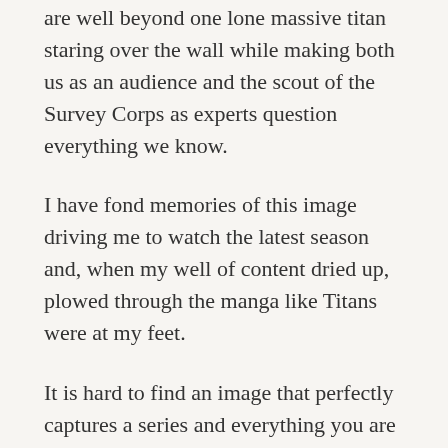are well beyond one lone massive titan staring over the wall while making both us as an audience and the scout of the Survey Corps as experts question everything we know.
I have fond memories of this image driving me to watch the latest season and, when my well of content dried up, plowed through the manga like Titans were at my feet.
It is hard to find an image that perfectly captures a series and everything you are in for, but for Attack on Titan I feel this is that image. If your room is one built on only the most iconic of scenes for your posters to honor your favorites, this one is the necessary pick. You can snag a 12x16in one for $12.77. YOu can also go for a slightly larger 16x20in for $18.77.